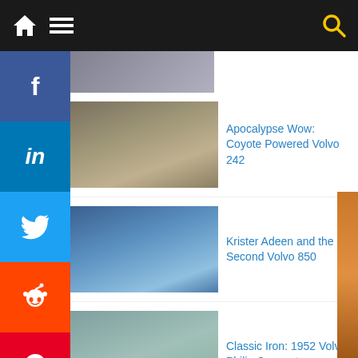Navigation bar with home, menu, and search icons
[Figure (screenshot): Partial top article thumbnail (cropped)]
[Figure (photo): Volvo 242 in dirt/outdoor scene]
Apocalypse Wow: Coyote Powered Volvo 242
[Figure (photo): Blue Volvo 850 race car front view]
Krister Adeen and the 6 Second Volvo 850
[Figure (photo): 1952 Volvo Philip Concept coupe in light blue]
Classic Iron: 1952 Volvo Philip Concept
[Figure (photo): White Volvo S60 race car]
For Sale: 680 HP Mid-engine V8 Volvo S60 Race Car